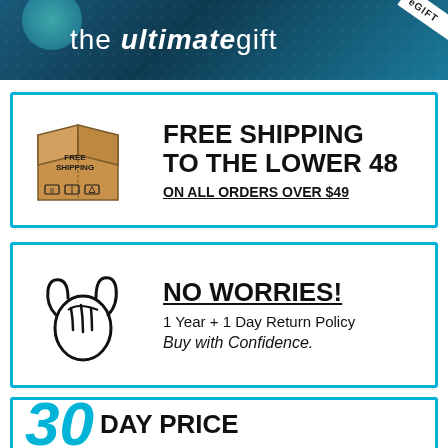[Figure (logo): The Ultimate Gift eGIFT banner with dark teal hexagonal pattern background. White text reads 'the ultimategift' with bold italic 'ultimate'. White ribbon badge in top-right corner reads 'eGIFT'.]
[Figure (infographic): Promotional box with cyan border featuring a cardboard shipping box image on the left labeled 'FREE SHIPPING'. Text on right reads 'FREE SHIPPING TO THE LOWER 48' and 'ON ALL ORDERS OVER $49' underlined.]
[Figure (infographic): Promotional box with cyan border featuring a hand shaka gesture illustration on the left. Text on right reads 'NO WORRIES!' underlined, '1 Year + 1 Day Return Policy', 'Buy with Confidence.']
[Figure (infographic): Promotional box with cyan border showing '30 DAY PRICE' text with large cyan brushstroke '30' on the left side. Partially visible at bottom of page.]